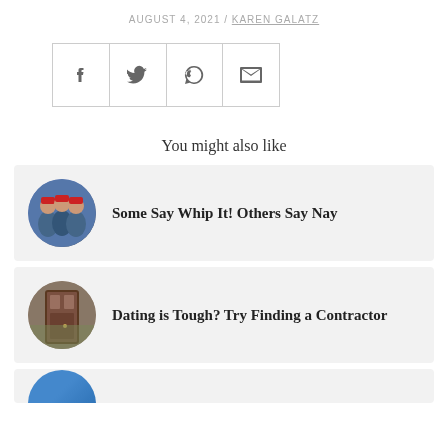AUGUST 4, 2021 / KAREN GALATZ
[Figure (infographic): Social share icons row: Facebook (f), Twitter (bird), WhatsApp (phone), Email (envelope)]
You might also like
Some Say Whip It! Others Say Nay
Dating is Tough? Try Finding a Contractor